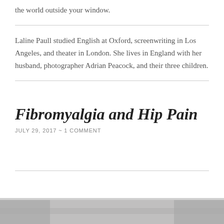the world outside your window.
Laline Paull studied English at Oxford, screenwriting in Los Angeles, and theater in London. She lives in England with her husband, photographer Adrian Peacock, and their three children.
Fibromyalgia and Hip Pain
JULY 29, 2017  ~  1 COMMENT
[Figure (photo): Partial photo visible at bottom of page, appears to be a grayscale image]